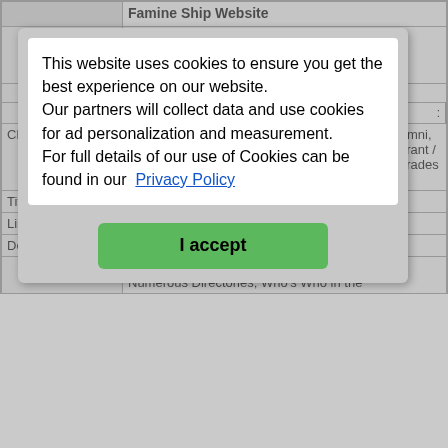Famine Ship Website
The Dunbrody famine ship carried many ... this ... re
| Field | Value |
| --- | --- |
| Classification: | Newspapers, School / Educational Records / Alumni, Prisoner / Trial / Conviction / Court Records, Migrant / Emmigration Lists and Records, Occupations / Trades / Apprentices, Other Records, Journals / Diaries |
| Title: | England Data from Ancestry |
| Link: | England Data from Ancestry |
| Description: | England Data Collection from Ancestry |
|  | Includes Emmigrants and Immigrants; Numerous Directories; Who's Who in the |
This website uses cookies to ensure you get the best experience on our website.
Our partners will collect data and use cookies for ad personalization and measurement.
For full details of our use of Cookies can be found in our Privacy Policy
I accept